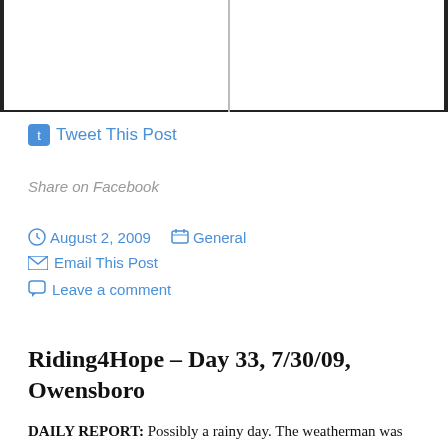[Figure (other): Top section with two-column border layout and divider line]
Tweet This Post
Share on Facebook
August 2, 2009   General   Email This Post   Leave a comment
Riding4Hope – Day 33, 7/30/09, Owensboro
DAILY REPORT:  Possibly a rainy day. The weatherman was predicting 70% chance...